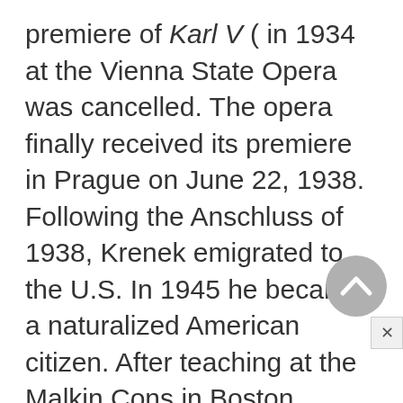premiere of Karl V ( in 1934 at the Vienna State Opera was cancelled. The opera finally received its premiere in Prague on June 22, 1938. Following the Anschluss of 1938, Krenek emigrated to the U.S. In 1945 he became a naturalized American citizen. After teaching at the Malkin Cons in Boston (1938–39), he taught at Vassar Coll. (1939–42). From 1942 to 1947 he was head of the music dept. at Hamline Univ. in St. Paul, Minn. In 1947 Krenek went to Los